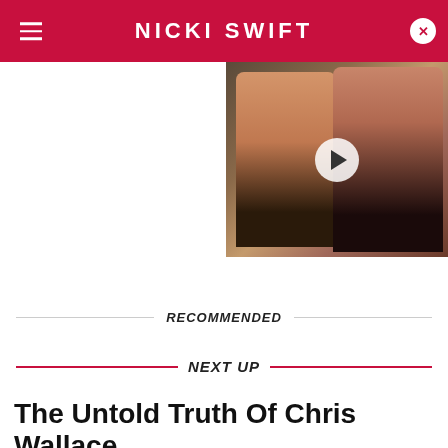NICKI SWIFT
[Figure (photo): Video thumbnail showing two people (a man and a woman) smiling, with a play button overlay in the center.]
RECOMMENDED
NEXT UP
The Untold Truth Of Chris Wallace